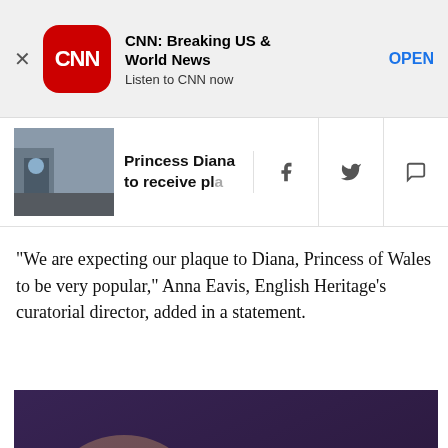[Figure (screenshot): CNN app advertisement banner with CNN logo, title 'CNN: Breaking US & World News', subtitle 'Listen to CNN now', and OPEN button]
[Figure (screenshot): Navigation strip showing thumbnail of Princess Diana article, headline 'Princess Diana to receive pla', and social share icons (Facebook, Twitter, WhatsApp)]
"We are expecting our plaque to Diana, Princess of Wales to be very popular," Anna Eavis, English Heritage's curatorial director, added in a statement.
[Figure (photo): A man sleeping, lying on his side in dim purple-toned lighting, wearing a smartwatch on his wrist]